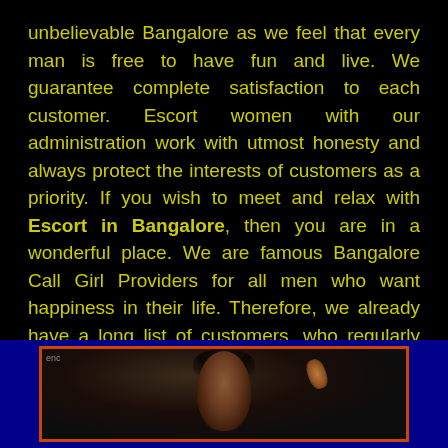unbelievable Bangalore as we feel that every man is free to have fun and live. We guarantee complete satisfaction to each customer. Escort women with our administration work with utmost honesty and always protect the interests of customers as a priority. If you wish to meet and relax with Escort in Bangalore, then you are in a wonderful place. We are famous Bangalore Call Girl Providers for all men who want happiness in their life. Therefore, we already have a long list of customers, who regularly service us. We have achieved a place where anyone can blindly trust our services because we have been in this industry for so long. We strongly believe that one has to earn respect and trust as it is not a one day game so constant efforts are required. That is why we feel privileged to have achieved such a big place in the industry.
[Figure (photo): Photograph of a person shown from the shoulders up, partially visible, against a dark background, inside an orange-bordered frame on a dark blue background.]